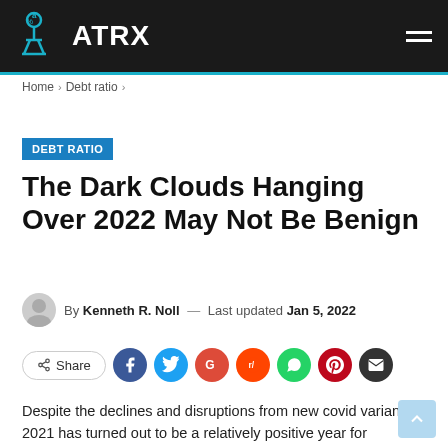ATRX
Home > Debt ratio >
DEBT RATIO
The Dark Clouds Hanging Over 2022 May Not Be Benign
By Kenneth R. Noll — Last updated Jan 5, 2022
Share
Despite the declines and disruptions from new covid variants, 2021 has turned out to be a relatively positive year for